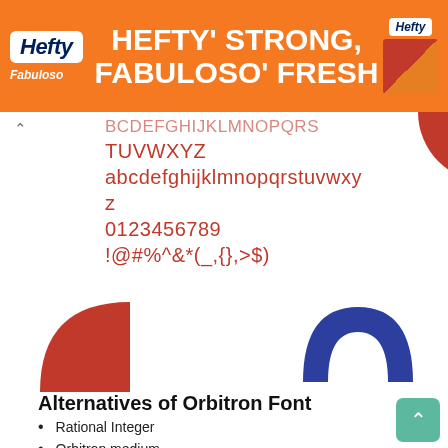[Figure (screenshot): Hefty Strong, Fabuloso Fresh orange advertisement banner with Hefty and Fabuloso logos]
BCDEFGHIJKLMNOPQRS TUVWXYZ abcdefghijklmnopqrstuvwxyz 0123456789 !@#%^&*(_{},$)
[Figure (illustration): Red quarter-circle shape (bottom-left) and dark blue arch shape (bottom-right) as decorative elements]
Alternatives of Orbitron Font
Rational Integer
Orbitron medium
Logan Five Light
Audiowide
Karateki